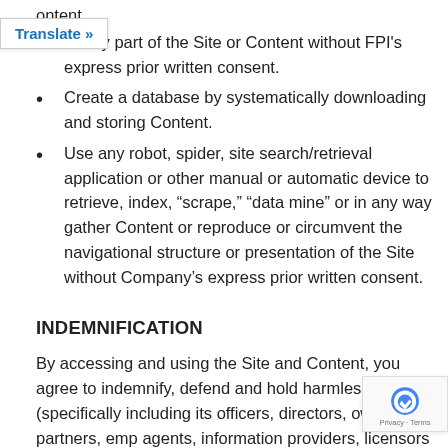ontent.
or any part of the Site or Content without FPI's express prior written consent.
Create a database by systematically downloading and storing Content.
Use any robot, spider, site search/retrieval application or other manual or automatic device to retrieve, index, “scrape,” “data mine” or in any way gather Content or reproduce or circumvent the navigational structure or presentation of the Site without Company’s express prior written consent.
INDEMNIFICATION
By accessing and using the Site and Content, you agree to indemnify, defend and hold harmless FPI (specifically including its officers, directors, owners, partners, emp agents, information providers, licensors and licensees)